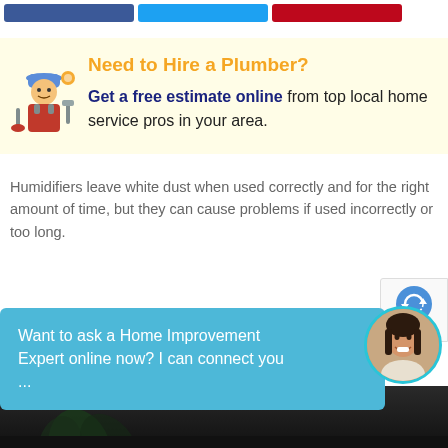[Figure (other): Three social share buttons at top: Facebook (blue), Twitter (cyan), Pinterest (red)]
[Figure (illustration): Cartoon plumber with blue hat, red overalls, holding a wrench and plunger, with gear icon]
Need to Hire a Plumber?
Get a free estimate online from top local home service pros in your area.
Humidifiers leave white dust when used correctly and for the right amount of time, but they can cause problems if used incorrectly or too long.
[Figure (other): reCAPTCHA badge with recycling/check icon]
Want to ask a Home Improvement Expert online now? I can connect you ...
[Figure (photo): Circular avatar photo of a smiling woman]
[Figure (photo): Dark background bottom image with plant/leaves silhouette]